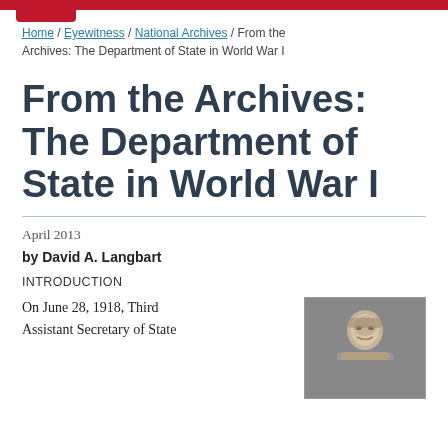Home / Eyewitness / National Archives / From the Archives: The Department of State in World War I
From the Archives: The Department of State in World War I
April 2013
by David A. Langbart
INTRODUCTION
On June 28, 1918, Third Assistant Secretary of State
[Figure (photo): Black and white portrait photograph of a person]